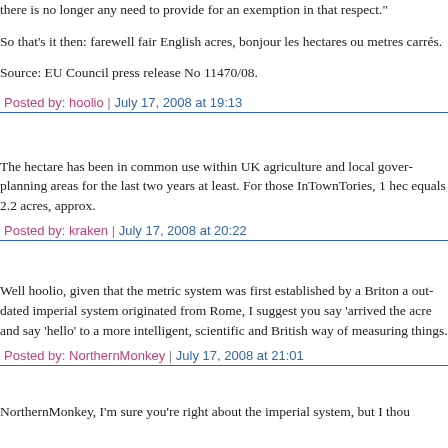there is no longer any need to provide for an exemption in that respect."
So that's it then: farewell fair English acres, bonjour les hectares ou metres carrés.
Source: EU Council press release No 11470/08.
Posted by: hoolio | July 17, 2008 at 19:13
The hectare has been in common use within UK agriculture and local gover... planning areas for the last two years at least. For those InTownTories, 1 hec... equals 2.2 acres, approx.
Posted by: kraken | July 17, 2008 at 20:22
Well hoolio, given that the metric system was first established by a Briton a... out-dated imperial system originated from Rome, I suggest you say 'arrived... the acre and say 'hello' to a more intelligent, scientific and British way of measuring things.
Posted by: NorthernMonkey | July 17, 2008 at 21:01
NorthernMonkey, I'm sure you're right about the imperial system, but I thou...